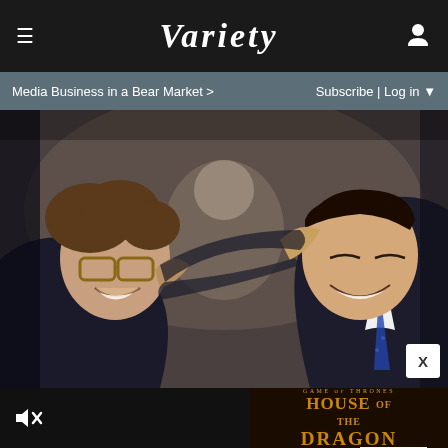VARIETY
Media Business in a Bear Market >
Subscribe | Log in
[Figure (photo): Two men in suits embracing and smiling at each other in a crowded room, scene from The Wolf of Wall Street film]
[Figure (advertisement): HBO Original Game of Thrones: House of the Dragon advertisement. Sunday 9PM on HBO Max. Watch Trailer button shown.]